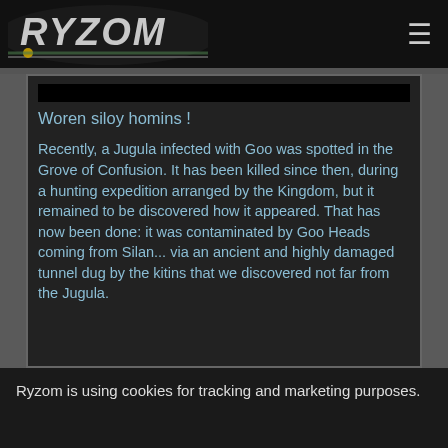RYZOM ☰
Woren siloy homins !
Recently, a Jugula infected with Goo was spotted in the Grove of Confusion. It has been killed since then, during a hunting expedition arranged by the Kingdom, but it remained to be discovered how it appeared. That has now been done: it was contaminated by Goo Heads coming from Silan... via an ancient and highly damaged tunnel dug by the kitins that we discovered not far from the Jugula.
Ryzom is using cookies for tracking and marketing purposes.